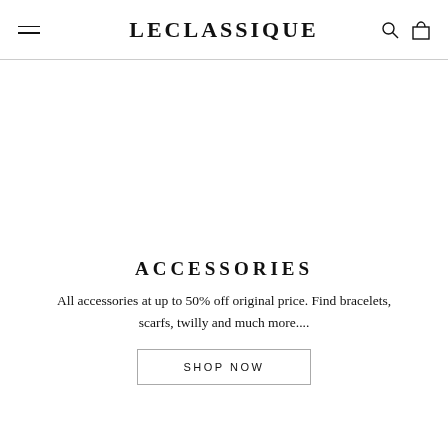LECLASSIQUE
ACCESSORIES
All accessories at up to 50% off original price. Find bracelets, scarfs, twilly and much more....
SHOP NOW